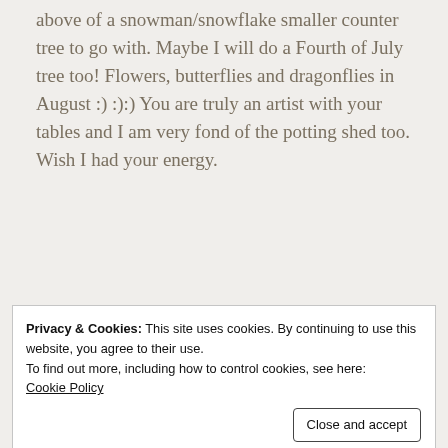above of a snowman/snowflake smaller counter tree to go with. Maybe I will do a Fourth of July tree too! Flowers, butterflies and dragonflies in August :) :):) You are truly an artist with your tables and I am very fond of the potting shed too. Wish I had your energy.
Loading...
Reply
Privacy & Cookies: This site uses cookies. By continuing to use this website, you agree to their use.
To find out more, including how to control cookies, see here:
Cookie Policy
Close and accept